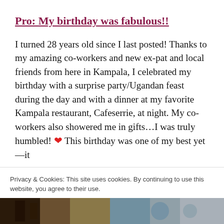Pro: My birthday was fabulous!!
I turned 28 years old since I last posted! Thanks to my amazing co-workers and new ex-pat and local friends from here in Kampala, I celebrated my birthday with a surprise party/Ugandan feast during the day and with a dinner at my favorite Kampala restaurant, Cafeserrie, at night. My co-workers also showered me in gifts…I was truly humbled! ❤ This birthday was one of my best yet—it
Privacy & Cookies: This site uses cookies. By continuing to use this website, you agree to their use.
To find out more, including how to control cookies, see here: Cookie Policy
Close and accept
[Figure (photo): Bottom strip showing a partial photo, appears to be currency or printed material with colorful imagery]